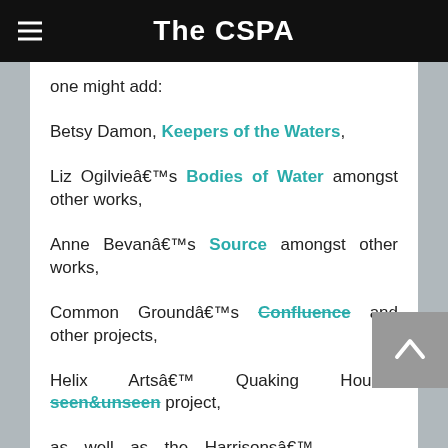The CSPA
one might add:
Betsy Damon, Keepers of the Waters,
Liz Ogilvieâ€™s Bodies of Water amongst other works,
Anne Bevanâ€™s Source amongst other works,
Common Groundâ€™s Confluence and other projects,
Helix Artsâ€™ Quaking Houses seen&unseen project,
as well as the Harrisonsâ€™, David Haley, Aviva Rahmani and a trawl through Greenmuseumâ€™s archivesâ€¦